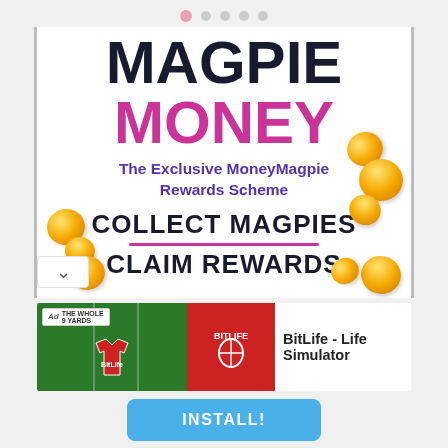[Figure (screenshot): Page indicator dots at top, showing navigation position]
MAGPIE MONEY
The Exclusive MoneyMagpie Rewards Scheme
COLLECT MAGPIES
CLAIM REWARDS
[Figure (infographic): Advertisement banner for BitLife - Life Simulator app with green football field background, red shirt, BitLife red icon logo]
BitLife - Life Simulator
INSTALL!